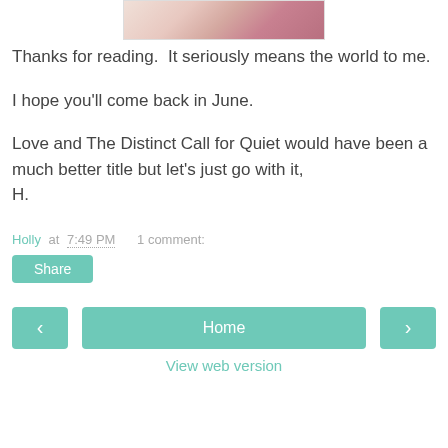[Figure (photo): Partial photo of a person at the top of the page, cropped, showing pink/red details]
Thanks for reading.  It seriously means the world to me.

I hope you'll come back in June.

Love and The Distinct Call for Quiet would have been a much better title but let's just go with it,
H.
Holly at 7:49 PM    1 comment:
Share
< Home > View web version